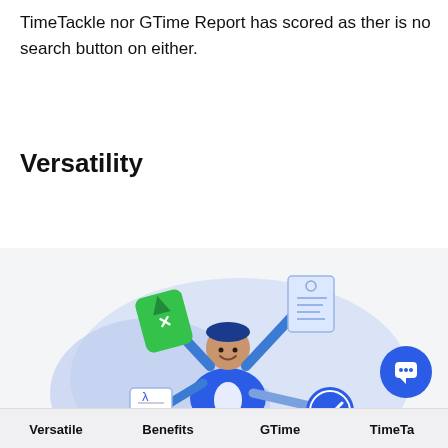TimeTackle nor GTime Report has scored as ther is no search button on either.
Versatility
[Figure (illustration): Illustration of a person with multiple arms holding documents, a spreadsheet, a clock, and a laptop — representing versatility in productivity tools.]
Versatile   Benefits   GTime   TimeTa